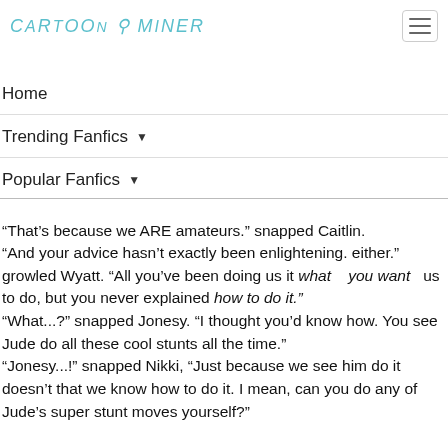CARTOON MINER
Home
Trending Fanfics ▾
Popular Fanfics ▾
“That’s because we ARE amateurs.” snapped Caitlin. “And your advice hasn’t exactly been enlightening. either.” growled Wyatt. “All you’ve been doing us it what you want us to do, but you never explained how to do it.” “What...?” snapped Jonesy. “I thought you’d know how. You see Jude do all these cool stunts all the time.” “Jonesy...!” snapped Nikki, “Just because we see him do it doesn’t that we know how to do it. I mean, can you do any of Jude’s super stunt moves yourself?”